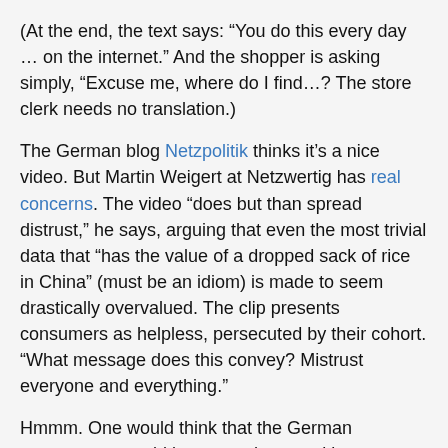(At the end, the text says: “You do this every day … on the internet.” And the shopper is asking simply, “Excuse me, where do I find…? The store clerk needs no translation.)
The German blog Netzpolitik thinks it’s a nice video. But Martin Weigert at Netzwertig has real concerns. The video “does but than spread distrust,” he says, arguing that even the most trivial data that “has the value of a dropped sack of rice in China” (must be an idiom) is made to seem drastically overvalued. The clip presents consumers as helpless, persecuted by their cohort. “What message does this convey? Mistrust everyone and everything.”
Hmmm. One would think that the German government would be somewhat sensitive to some irony there since, in earlier form, it was quite effective at making everyone mistrust everyone.
But the metaphor is hardly just German. Last week in Congress, Sen. Jay Rockefeller pulled out the overused